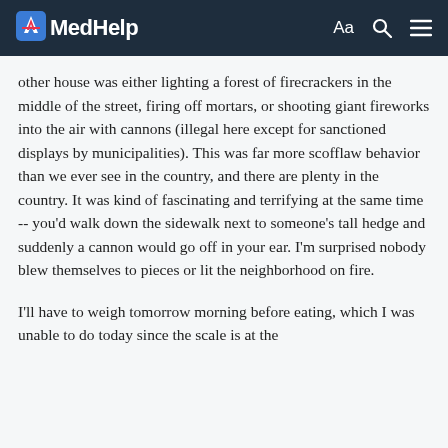MedHelp
other house was either lighting a forest of firecrackers in the middle of the street, firing off mortars, or shooting giant fireworks into the air with cannons (illegal here except for sanctioned displays by municipalities). This was far more scofflaw behavior than we ever see in the country, and there are plenty in the country. It was kind of fascinating and terrifying at the same time -- you'd walk down the sidewalk next to someone's tall hedge and suddenly a cannon would go off in your ear. I'm surprised nobody blew themselves to pieces or lit the neighborhood on fire.
I'll have to weigh tomorrow morning before eating, which I was unable to do today since the scale is at the